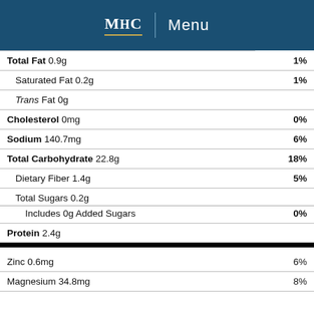MHC | Menu
| Nutrient | % Daily Value |
| --- | --- |
| Total Fat 0.9g | 1% |
| Saturated Fat 0.2g | 1% |
| Trans Fat 0g |  |
| Cholesterol 0mg | 0% |
| Sodium 140.7mg | 6% |
| Total Carbohydrate 22.8g | 18% |
| Dietary Fiber 1.4g | 5% |
| Total Sugars 0.2g |  |
| Includes 0g Added Sugars | 0% |
| Protein 2.4g |  |
| Zinc 0.6mg | 6% |
| Magnesium 34.8mg | 8% |